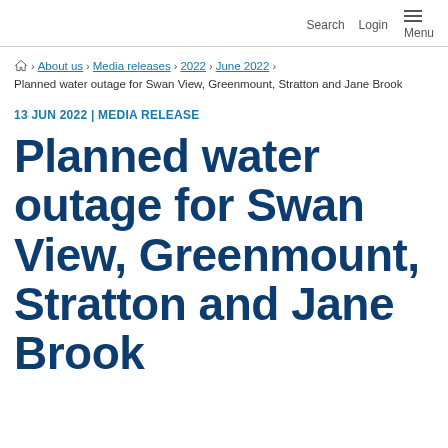Search  Login  Menu
Home > About us > Media releases > 2022 > June 2022 > Planned water outage for Swan View, Greenmount, Stratton and Jane Brook
13 JUN 2022 | MEDIA RELEASE
Planned water outage for Swan View, Greenmount, Stratton and Jane Brook